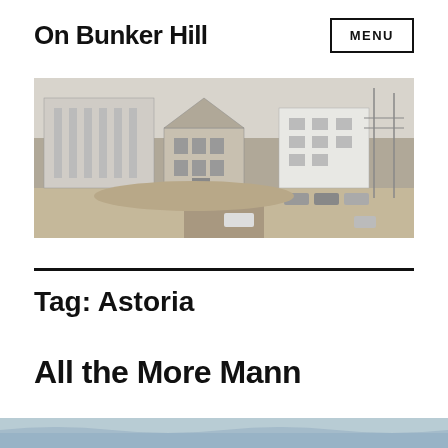On Bunker Hill
[Figure (photo): Black and white historical photograph of Bunker Hill area in Los Angeles, showing old Victorian buildings and modern structures in the background, with cars and a road visible.]
Tag: Astoria
All the More Mann
[Figure (photo): Partial view of another photograph at the bottom of the page, appears to be a waterfront or outdoor scene.]